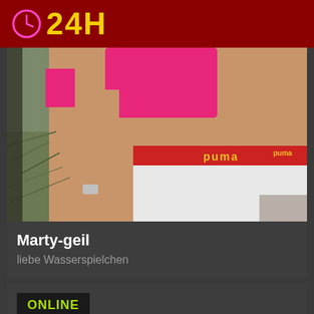24H
[Figure (photo): Close-up photo of a person wearing a pink top and white Puma shorts with a red waistband, standing outdoors with grass in the background.]
Marty-geil
liebe Wasserspielchen
ONLINE